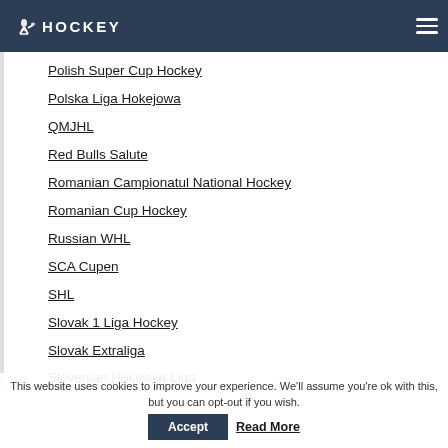HOCKEY
Polish Super Cup Hockey
Polska Liga Hokejowa
QMJHL
Red Bulls Salute
Romanian Campionatul National Hockey
Romanian Cup Hockey
Russian WHL
SCA Cupen
SHL
Slovak 1 Liga Hockey
Slovak Extraliga
Slovenian Hokeiska Liga
This website uses cookies to improve your experience. We'll assume you're ok with this, but you can opt-out if you wish.
Accept  Read More